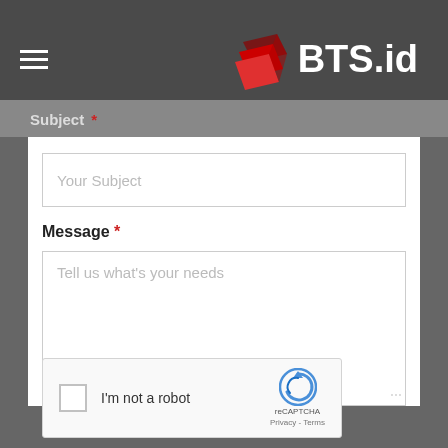BTS.id
Subject *
Your Subject
Message *
Tell us what's your needs
[Figure (screenshot): reCAPTCHA widget with checkbox labeled I'm not a robot, reCAPTCHA logo with arrow icon, Privacy and Terms links]